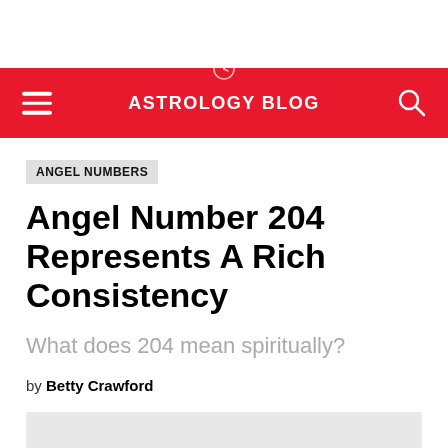ASTROLOGY BLOG
ANGEL NUMBERS
Angel Number 204 Represents A Rich Consistency
What does 204 mean spiritually?
by Betty Crawford
[Figure (photo): Gray placeholder image block at the bottom of the article]